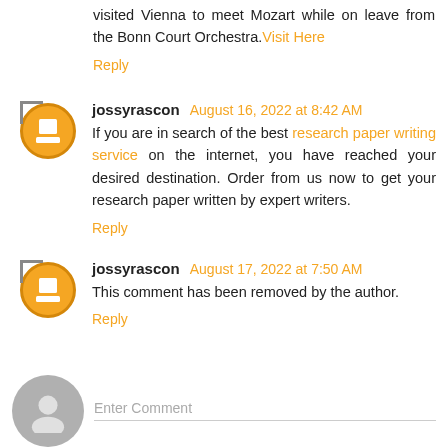visited Vienna to meet Mozart while on leave from the Bonn Court Orchestra. Visit Here
Reply
jossyrascon August 16, 2022 at 8:42 AM
If you are in search of the best research paper writing service on the internet, you have reached your desired destination. Order from us now to get your research paper written by expert writers.
Reply
jossyrascon August 17, 2022 at 7:50 AM
This comment has been removed by the author.
Reply
Enter Comment